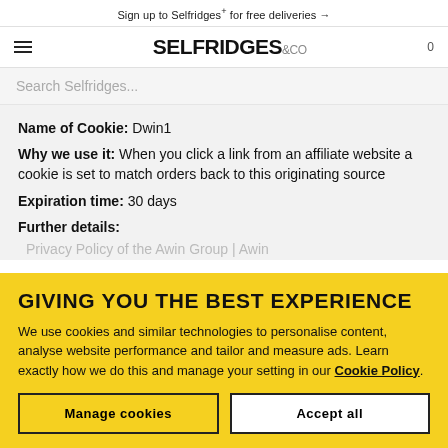Sign up to Selfridges+ for free deliveries →
[Figure (logo): Selfridges & Co logo with hamburger menu and cart icon]
Search Selfridges...
Name of Cookie: Dwin1
Why we use it: When you click a link from an affiliate website a cookie is set to match orders back to this originating source
Expiration time: 30 days
Further details:
Privacy Policy of the Awin Group | Awin
GIVING YOU THE BEST EXPERIENCE
We use cookies and similar technologies to personalise content, analyse website performance and tailor and measure ads. Learn exactly how we do this and manage your setting in our Cookie Policy.
Manage cookies
Accept all